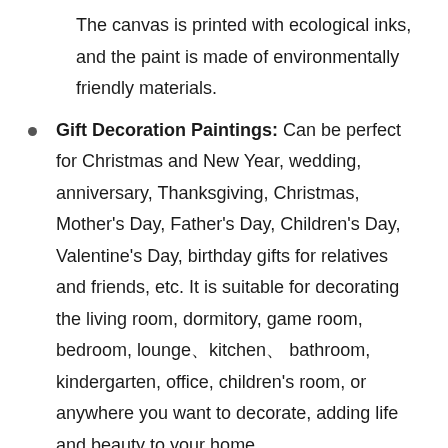The canvas is printed with ecological inks, and the paint is made of environmentally friendly materials.
Gift Decoration Paintings: Can be perfect for Christmas and New Year, wedding, anniversary, Thanksgiving, Christmas, Mother's Day, Father's Day, Children's Day, Valentine's Day, birthday gifts for relatives and friends, etc. It is suitable for decorating the living room, dormitory, game room, bedroom, lounge、kitchen、 bathroom, kindergarten, office, children's room, or anywhere you want to decorate, adding life and beauty to your home.
Frameless: This product does not provide a